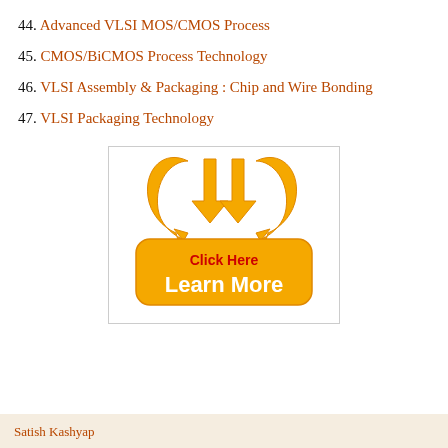44. Advanced VLSI MOS/CMOS Process
45. CMOS/BiCMOS Process Technology
46. VLSI Assembly & Packaging : Chip and Wire Bonding
47. VLSI Packaging Technology
[Figure (illustration): Orange 'Click Here / Learn More' button with two downward-pointing arrows above it, on a white background with a light border.]
Satish Kashyap